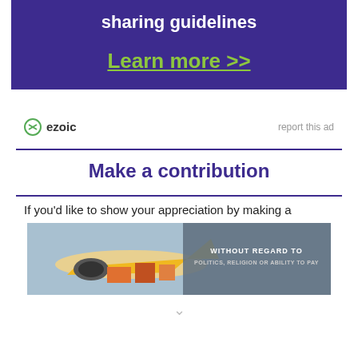[Figure (infographic): Purple banner with white bold text 'sharing guidelines' and green underlined text 'Learn more >>']
ezoic   report this ad
Make a contribution
If you'd like to show your appreciation by making a
[Figure (photo): Advertisement showing cargo aircraft being loaded, with overlay text 'WITHOUT REGARD TO POLITICS, RELIGION OR ABILITY TO PAY']